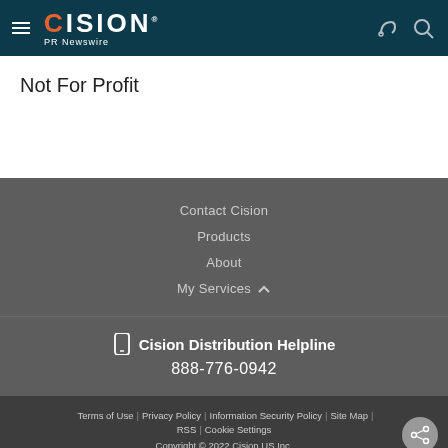CISION PR Newswire
Not For Profit
Contact Cision
Products
About
My Services
Cision Distribution Helpline 888-776-0942
Terms of Use | Privacy Policy | Information Security Policy | Site Map | RSS | Cookie Settings
Copyright © 2022 Cision US Inc.